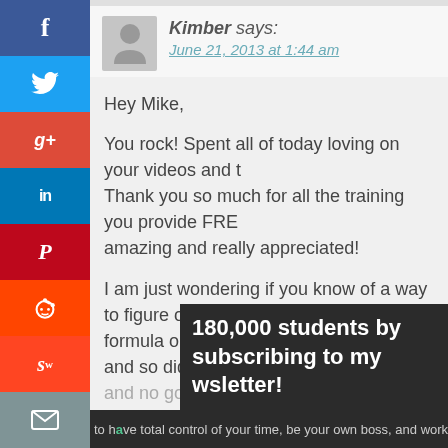[Figure (illustration): Social media sharing sidebar with icons: Facebook (f), Twitter (bird), Google+ (g+), LinkedIn (in), Pinterest (P), Reddit (alien), StumbleUpon (s), Email (envelope)]
Kimber says:
June 21, 2013 at 1:44 am
Hey Mike,

You rock! Spent all of today loving on your videos and t... Thank you so much for all the training you provide FRE... amazing and really appreciated!

I am just wondering if you know of a way to figure out t... formula on a calculator. I tried to do it and so did two o... and no go. Would you have to know how? It works gre...
180,000 students by subscribing to my
wsletter!
to have total control of your time, be your own boss, and work your own hours from y...